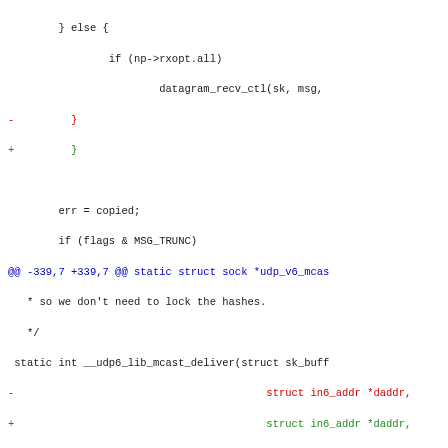[Figure (screenshot): A code diff view showing changes to UDP IPv6 socket code in C. Lines show diff hunks with red (removed) and green (added) lines, and blue hunk headers. Context lines are shown in dark/black. The code includes function definitions and control flow for UDP receive handling.]